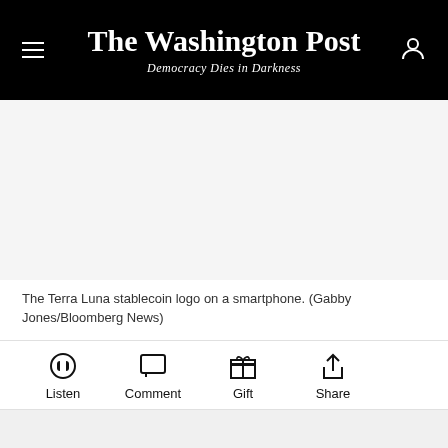The Washington Post — Democracy Dies in Darkness
[Figure (photo): The Terra Luna stablecoin logo on a smartphone. (Gabby Jones/Bloomberg News)]
The Terra Luna stablecoin logo on a smartphone. (Gabby Jones/Bloomberg News)
Listen   Comment   Gift   Share
When two cryptocurrencies crashed roughly three